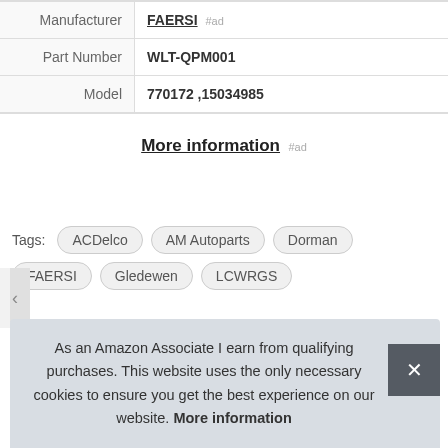|  |  |
| --- | --- |
| Manufacturer | FAERSI #ad |
| Part Number | WLT-QPM001 |
| Model | 770172 ,15034985 |
More information #ad
Tags: ACDelco AM Autoparts Dorman FAERSI Gledewen LCWRGS
As an Amazon Associate I earn from qualifying purchases. This website uses the only necessary cookies to ensure you get the best experience on our website. More information